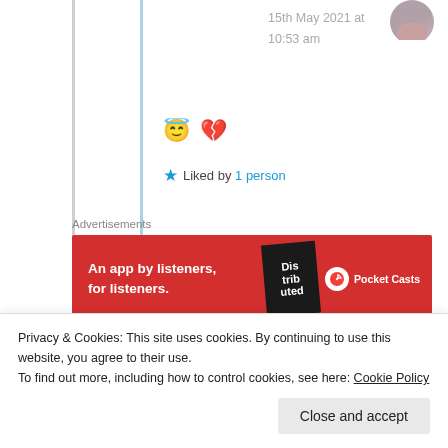15th May 2021 at 10:53 am
😇💔
★ Liked by 1 person
Advertisements
[Figure (other): Pocket Casts advertisement banner: red background with 'An app by listeners, for listeners.' text and Pocket Casts logo]
REPORT THIS AD
Thattamma C C Menon
Malayalam speaking ;
Privacy & Cookies: This site uses cookies. By continuing to use this website, you agree to their use.
To find out more, including how to control cookies, see here: Cookie Policy
Close and accept